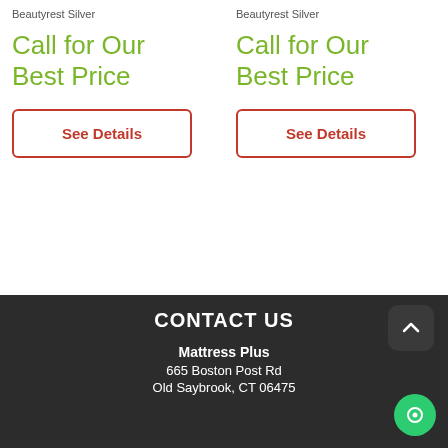Beautyrest Silver
Beautyrest Silver
Call for Our Best Price
Call for Our Best Price
See Details
See Details
CONTACT US
Mattress Plus
665 Boston Post Rd
Old Saybrook, CT 06475